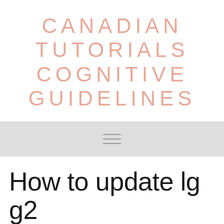CANADIAN TUTORIALS COGNITIVE GUIDELINES
[Figure (other): Navigation bar with hamburger menu icon (three horizontal lines) on a light gray background]
How to update lg g2 to lollipop manually